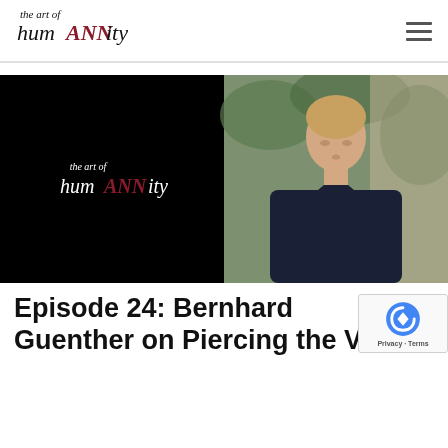[Figure (logo): The Art of HumANNity logo in handwritten/script style font with 'ANN' highlighted in dark red/maroon]
[Figure (photo): Split image: left half black background with 'the art of humANNity' logo in white text with red ANN; right half photo of a man with short hair wearing a dark navy shirt, standing outdoors near foliage and a light-colored wall]
Episode 24: Bernhard Guenther on Piercing the Veil